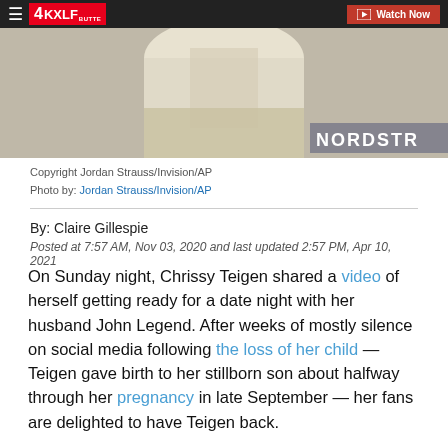4KXLF BUTTE | Watch Now
[Figure (photo): Photo of a person in a white/cream beaded gown at what appears to be a Nordstrom event, cropped to show torso area. Partial NORDSTR text overlay visible on right side.]
Copyright Jordan Strauss/Invision/AP
Photo by: Jordan Strauss/Invision/AP
By: Claire Gillespie
Posted at 7:57 AM, Nov 03, 2020 and last updated 2:57 PM, Apr 10, 2021
On Sunday night, Chrissy Teigen shared a video of herself getting ready for a date night with her husband John Legend. After weeks of mostly silence on social media following the loss of her child — Teigen gave birth to her stillborn son about halfway through her pregnancy in late September — her fans are delighted to have Teigen back.